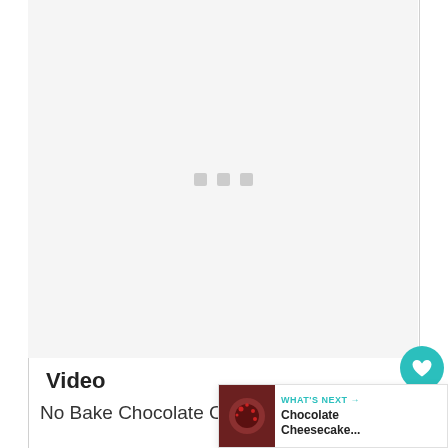[Figure (other): Video player placeholder area with three small grey loading dots centered in a light grey rectangle]
Video
No Bake Chocolate Cheesecake With Easy Cheesecake Recipe | No Eggs